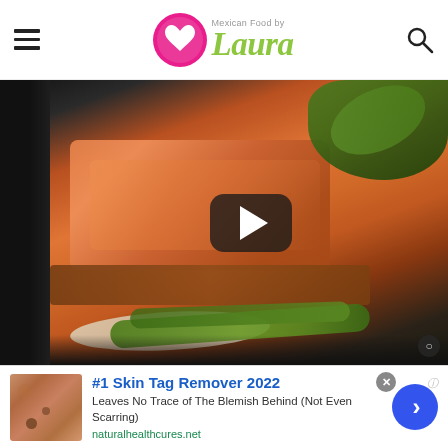[Figure (logo): Mexican Food by Laura logo with pink heart circle and green cursive text]
[Figure (photo): Close-up video thumbnail of grilled salmon fillet with green vegetables and cream sauce on a dark plate, with a video play button overlay]
[Figure (infographic): Advertisement banner: skin tag remover ad with photo of skin, title '#1 Skin Tag Remover 2022', description 'Leaves No Trace of The Blemish Behind (Not Even Scarring)', URL naturalhealthcures.net, with blue arrow button]